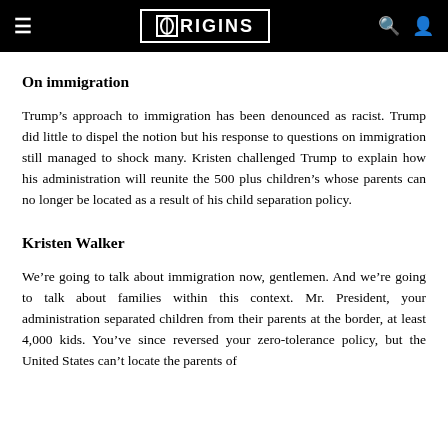ORIGINS
On immigration
Trump’s approach to immigration has been denounced as racist. Trump did little to dispel the notion but his response to questions on immigration still managed to shock many. Kristen challenged Trump to explain how his administration will reunite the 500 plus children’s whose parents can no longer be located as a result of his child separation policy.
Kristen Walker
We’re going to talk about immigration now, gentlemen. And we’re going to talk about families within this context. Mr. President, your administration separated children from their parents at the border, at least 4,000 kids. You’ve since reversed your zero-tolerance policy, but the United States can’t locate the parents of